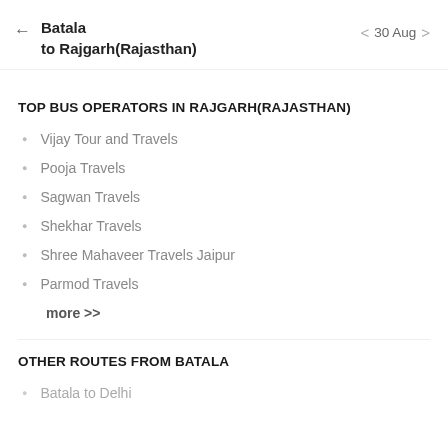Batala to Rajgarh(Rajasthan)  ← 30 Aug →
TOP BUS OPERATORS IN RAJGARH(RAJASTHAN)
Vijay Tour and Travels
Pooja Travels
Sagwan Travels
Shekhar Travels
Shree Mahaveer Travels Jaipur
Parmod Travels
more >>
OTHER ROUTES FROM BATALA
Batala to Delhi